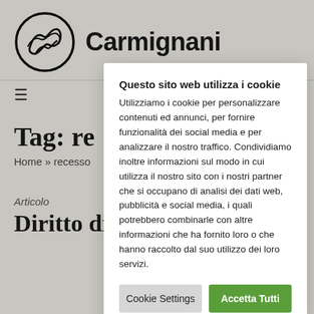[Figure (logo): Circular logo with stylized wave design in black line art]
Carmignani
≡
Tag: re
Home » recesso
Articolo
Diritto di recesso
Questo sito web utilizza i cookie Utilizziamo i cookie per personalizzare contenuti ed annunci, per fornire funzionalità dei social media e per analizzare il nostro traffico. Condividiamo inoltre informazioni sul modo in cui utilizza il nostro sito con i nostri partner che si occupano di analisi dei dati web, pubblicità e social media, i quali potrebbero combinarle con altre informazioni che ha fornito loro o che hanno raccolto dal suo utilizzo dei loro servizi.
Cookie Settings
Accetta Tutti